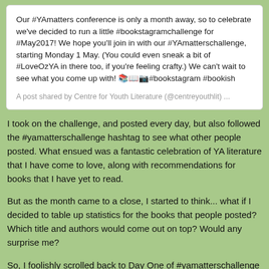Our #YAmatters conference is only a month away, so to celebrate we've decided to run a little #bookstagramchallenge for #May2017! We hope you'll join in with our #YAmatterschallenge, starting Monday 1 May. (You could even sneak a bit of #LoveOzYA in there too, if you're feeling crafty.) We can't wait to see what you come up with! 📚📖📷#bookstagram #bookish
A post shared by Centre for Youth Literature (@centreyouthlit) ...
I took on the challenge, and posted every day, but also followed the #yamatterschallenge hashtag to see what other people posted. What ensued was a fantastic celebration of YA literature that I have come to love, along with recommendations for books that I have yet to read.
But as the month came to a close, I started to think... what if I decided to table up statistics for the books that people posted? Which title and authors would come out on top? Would any surprise me?
So, I foolishly scrolled back to Day One of #yamatterschallenge